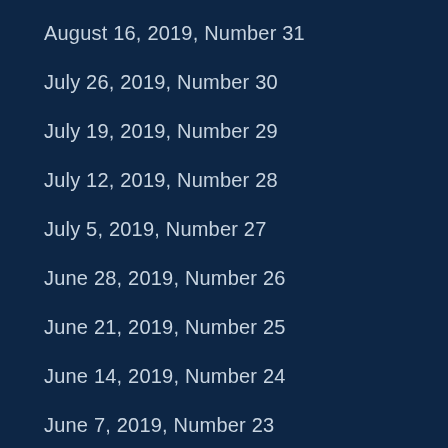August 16, 2019, Number 31
July 26, 2019, Number 30
July 19, 2019, Number 29
July 12, 2019, Number 28
July 5, 2019, Number 27
June 28, 2019, Number 26
June 21, 2019, Number 25
June 14, 2019, Number 24
June 7, 2019, Number 23